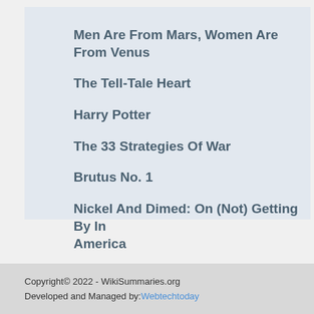Men Are From Mars, Women Are From Venus
The Tell-Tale Heart
Harry Potter
The 33 Strategies Of War
Brutus No. 1
Nickel And Dimed: On (Not) Getting By In America
Copyright© 2022 - WikiSummaries.org
Developed and Managed by: Webtechtoday